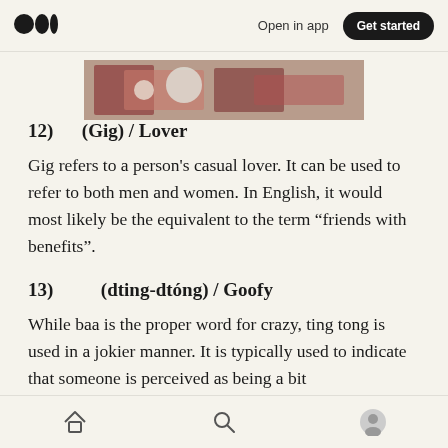Open in app | Get started
[Figure (photo): Partial image of food or floral arrangement, cropped at top]
12)      (Gig) / Lover
Gig refers to a person's casual lover. It can be used to refer to both men and women. In English, it would most likely be the equivalent to the term “friends with benefits”.
13)           (dting-dtóng) / Goofy
While baa is the proper word for crazy, ting tong is used in a jokier manner. It is typically used to indicate that someone is perceived as being a bit
Home | Search | Profile